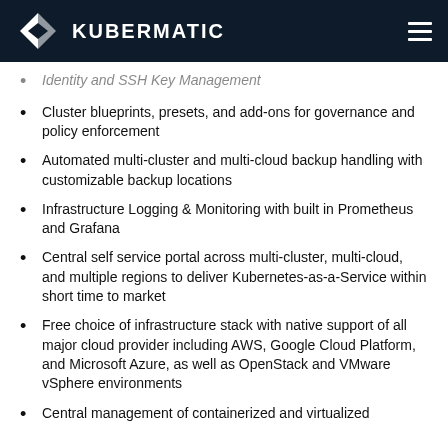KUBERMATIC
Identity and SSH Key Management
Cluster blueprints, presets, and add-ons for governance and policy enforcement
Automated multi-cluster and multi-cloud backup handling with customizable backup locations
Infrastructure Logging & Monitoring with built in Prometheus and Grafana
Central self service portal across multi-cluster, multi-cloud, and multiple regions to deliver Kubernetes-as-a-Service within short time to market
Free choice of infrastructure stack with native support of all major cloud provider including AWS, Google Cloud Platform, and Microsoft Azure, as well as OpenStack and VMware vSphere environments
Central management of containerized and virtualized